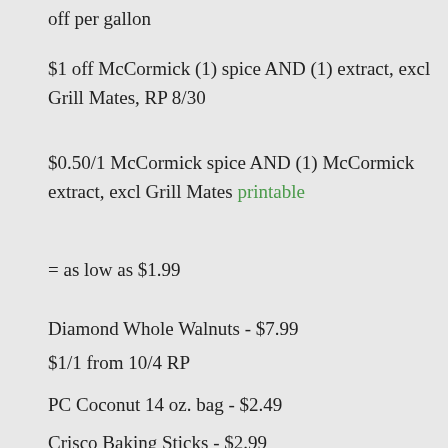off per gallon
$1 off McCormick (1) spice AND (1) extract, excl Grill Mates, RP 8/30
$0.50/1 McCormick spice AND (1) McCormick extract, excl Grill Mates printable
= as low as $1.99
Diamond Whole Walnuts - $7.99
$1/1 from 10/4 RP
PC Coconut 14 oz. bag - $2.49
Crisco Baking Sticks - $2.99